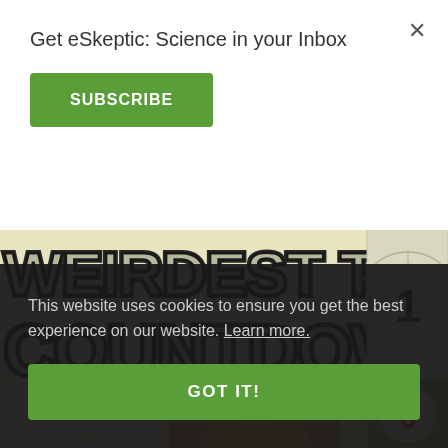[Figure (illustration): Retro-style countdown/film reel graphic with large text reading 'WEIRDEST THINGS COUNTDOWN' on a yellowed background with circular film countdown frames showing numbers 1 and 6]
Get eSkeptic: Science in your Inbox
SUBSCRIBE
This website uses cookies to ensure you get the best experience on our website. Learn more.
GOT IT!